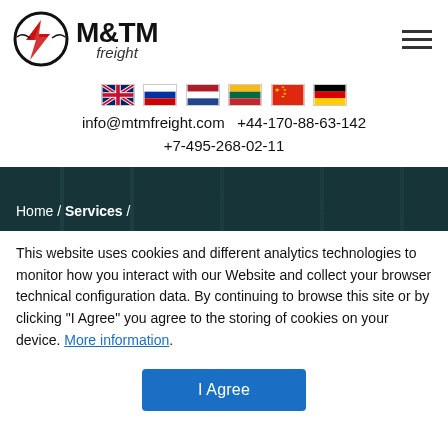[Figure (logo): M&TM freight company logo with circular emblem and red lightning bolt]
[Figure (infographic): Row of six country flags: UK, Russia, Netherlands, Lithuania, China, Germany]
info@mtmfreight.com  +44-170-88-63-142
+7-495-268-02-11
[Figure (photo): Dark warehouse interior banner with breadcrumb navigation: Home / Services /]
This website uses cookies and different analytics technologies to monitor how you interact with our Website and collect your browser technical configuration data. By continuing to browse this site or by clicking "I Agree" you agree to the storing of cookies on your device. More information.
I Agree